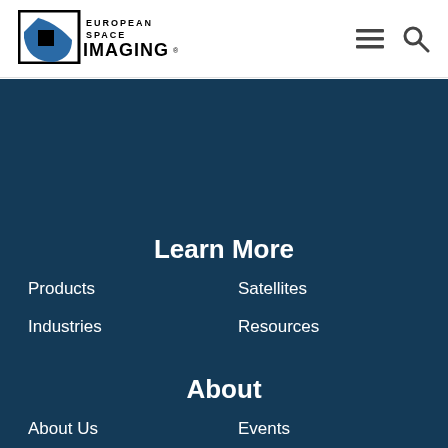European Space Imaging
[Figure (logo): European Space Imaging logo with blue satellite dish graphic and company name]
Learn More
Products
Satellites
Industries
Resources
About
About Us
Events